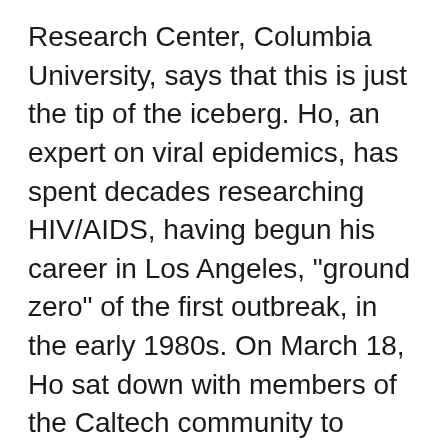Research Center, Columbia University, says that this is just the tip of the iceberg. Ho, an expert on viral epidemics, has spent decades researching HIV/AIDS, having begun his career in Los Angeles, "ground zero" of the first outbreak, in the early 1980s. On March 18, Ho sat down with members of the Caltech community to discuss the novel coronavirus and the future of our society in the light of this global pandemic.
Walk us through the spread of the virus in the United States. What does the country look like